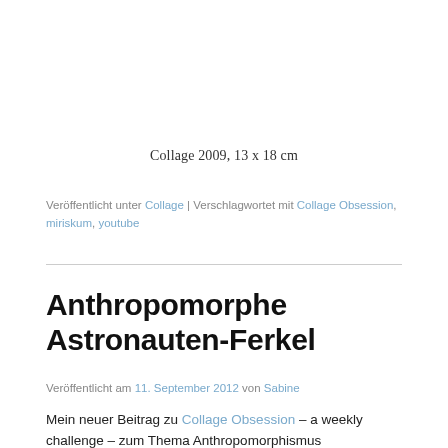Collage 2009, 13 x 18 cm
Veröffentlicht unter Collage | Verschlagwortet mit Collage Obsession, miriskum, youtube
Anthropomorphe Astronauten-Ferkel
Veröffentlicht am 11. September 2012 von Sabine
Mein neuer Beitrag zu Collage Obsession – a weekly challenge – zum Thema Anthropomorphismus (Vermenschlichung im Aussehen oder Verhalten von Tieren, Göttern, Naturgewalten oder Gegenständen; Beispiel: